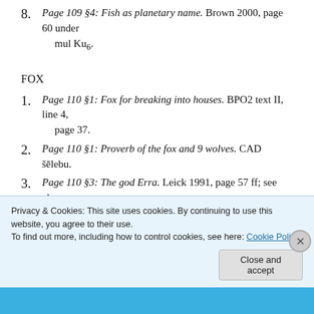8. Page 109 §4: Fish as planetary name. Brown 2000, page 60 under mul Ku6.
FOX
1. Page 110 §1: Fox for breaking into houses. BPO2 text II, line 4, page 37.
2. Page 110 §1: Proverb of the fox and 9 wolves. CAD šēlebu.
3. Page 110 §3: The god Erra. Leick 1991, page 57 ff; see also Livingstone 1996, page 110, line 11 of text.
Privacy & Cookies: This site uses cookies. By continuing to use this website, you agree to their use. To find out more, including how to control cookies, see here: Cookie Policy
Close and accept